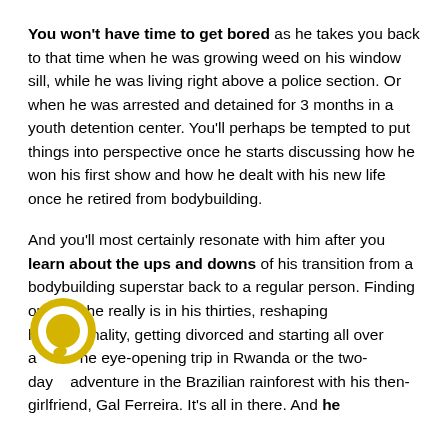You won't have time to get bored as he takes you back to that time when he was growing weed on his window sill, while he was living right above a police section. Or when he was arrested and detained for 3 months in a youth detention center. You'll perhaps be tempted to put things into perspective once he starts discussing how he won his first show and how he dealt with his new life once he retired from bodybuilding.
And you'll most certainly resonate with him after you learn about the ups and downs of his transition from a bodybuilding superstar back to a regular person. Finding out who he really is in his thirties, reshaping his personality, getting divorced and starting all over again the eye-opening trip in Rwanda or the two-day adventure in the Brazilian rainforest with his then-girlfriend, Gal Ferreira. It's all in there. And he
[Figure (logo): Yellow circle with white ring/speech-bubble icon overlay on text]